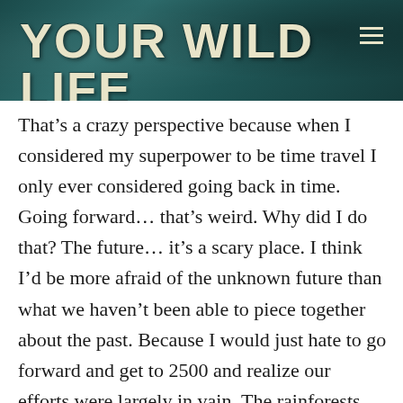YOUR WILD LIFE
That’s a crazy perspective because when I considered my superpower to be time travel I only ever considered going back in time. Going forward… that’s weird. Why did I do that? The future… it’s a scary place. I think I’d be more afraid of the unknown future than what we haven’t been able to piece together about the past. Because I would just hate to go forward and get to 2500 and realize our efforts were largely in vain. The rainforests might be gone and the world is peaking at 11 billion people and I’d hate for all of those negative projections to be reality.